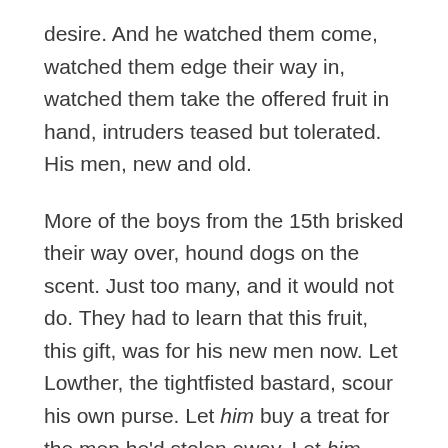desire. And he watched them come, watched them edge their way in, watched them take the offered fruit in hand, intruders teased but tolerated. His men, new and old.
More of the boys from the 15th brisked their way over, hound dogs on the scent. Just too many, and it would not do. They had to learn that this fruit, this gift, was for his new men now. Let Lowther, the tightfisted bastard, scour his own purse. Let him buy a treat for the men he'd stolen away. Let him burn.
Oates strode forward, hip not much of a bother this ripe day, maybe heat-soothed, and he said, “You men there. Cates, Jones, Kirby. Rest of you. Those melons are for the Forty-eighth, and they won't stretch. Y'all get back to